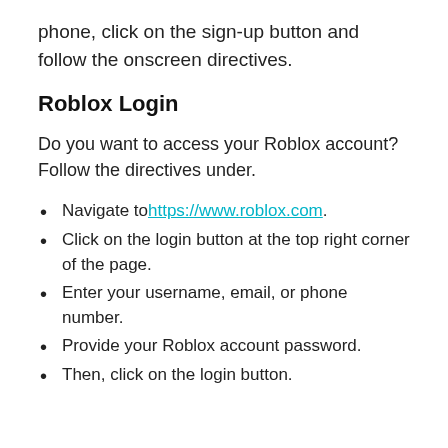phone, click on the sign-up button and follow the onscreen directives.
Roblox Login
Do you want to access your Roblox account? Follow the directives under.
Navigate to https://www.roblox.com.
Click on the login button at the top right corner of the page.
Enter your username, email, or phone number.
Provide your Roblox account password.
Then, click on the login button.